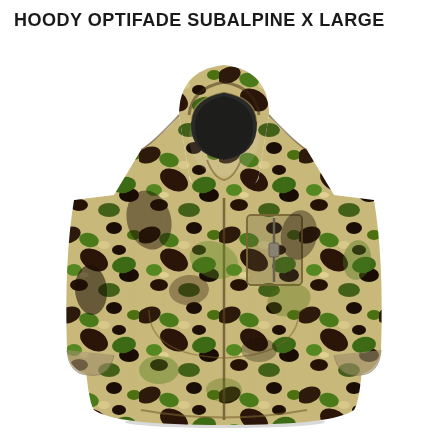HOODY OPTIFADE SUBALPINE X LARGE
[Figure (photo): A camouflage hooded jacket (hoody) in Optifade Subalpine pattern, size X Large. The jacket features a full-zip front, a fitted hood with face opening, long sleeves, a chest pocket with a vertical zipper, and lower hand pockets. The camouflage pattern consists of sandy tan, dark brown/black, and bright green irregular patches mimicking subalpine terrain.]